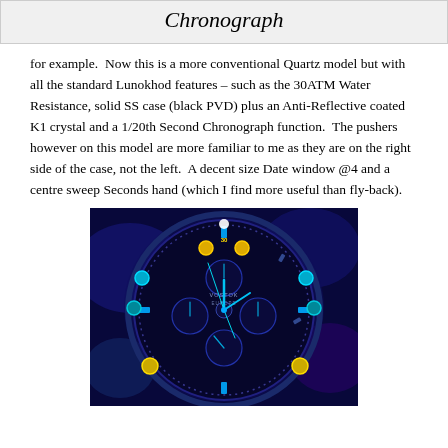Chronograph
for example.  Now this is a more conventional Quartz model but with all the standard Lunokhod features – such as the 30ATM Water Resistance, solid SS case (black PVD) plus an Anti-Reflective coated K1 crystal and a 1/20th Second Chronograph function.  The pushers however on this model are more familiar to me as they are on the right side of the case, not the left.  A decent size Date window @4 and a centre sweep Seconds hand (which I find more useful than fly-back).
[Figure (photo): Close-up photograph of a Vostok Europe chronograph watch face glowing with blue luminescence. The black dial shows multiple sub-dials, yellow and cyan/teal pushers around the bezel, and luminous blue hands and hour markers. The brand name 'VOSTOK EUROPE' is visible on the dial.]